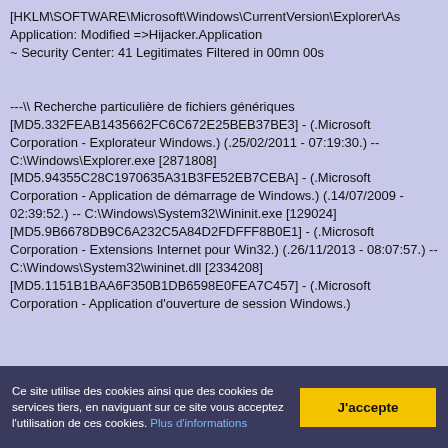[HKLM\SOFTWARE\Microsoft\Windows\CurrentVersion\Explorer\As
Application: Modified =>Hijacker.Application
~ Security Center: 41 Legitimates Filtered in 00mn 00s

---\\ Recherche particulière de fichiers génériques
[MD5.332FEAB1435662FC6C672E25BEB37BE3] - (.Microsoft Corporation - Explorateur Windows.) (.25/02/2011 - 07:19:30.) -- C:\Windows\Explorer.exe [2871808]
[MD5.94355C28C1970635A31B3FE52EB7CEBA] - (.Microsoft Corporation - Application de démarrage de Windows.) (.14/07/2009 - 02:39:52.) -- C:\Windows\System32\Wininit.exe [129024]
[MD5.9B6678DB9C6A232C5A84D2FDFFF8B0E1] - (.Microsoft Corporation - Extensions Internet pour Win32.) (.26/11/2013 - 08:07:57.) -- C:\Windows\System32\wininet.dll [2334208]
[MD5.1151B1BAA6F350B1DB6598E0FEA7C457] - (.Microsoft Corporation - Application d'ouverture de session Windows.)
Ce site utilise des cookies ainsi que des cookies de services tiers, en naviguant sur ce site vous acceptez l'utilisation de ces cookies. Plus d'informations